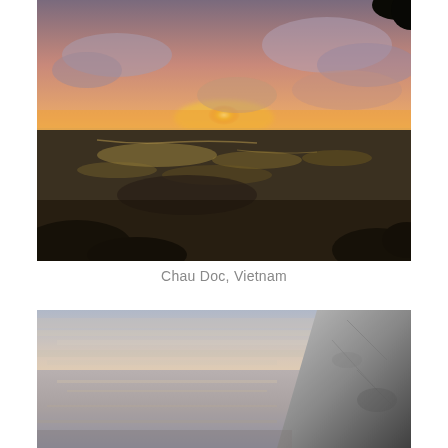[Figure (photo): Aerial sunset view over Chau Doc, Vietnam. The sky is filled with dramatic clouds illuminated in shades of pink, orange, and purple. A bright orange-yellow sun sits near the horizon. Below, a wide agricultural landscape with rice fields, waterways, and a town can be seen stretching to the horizon. Dark tree foliage frames the lower edges and top-right corner.]
Chau Doc, Vietnam
[Figure (photo): View of a calm ocean or large lake at dusk from a hillside. The sky is pale with soft layered clouds in muted pinks and grays. The water reflects the soft light. A large rocky hillside or cliff occupies the right side of the frame. The overall mood is serene and twilight-like.]